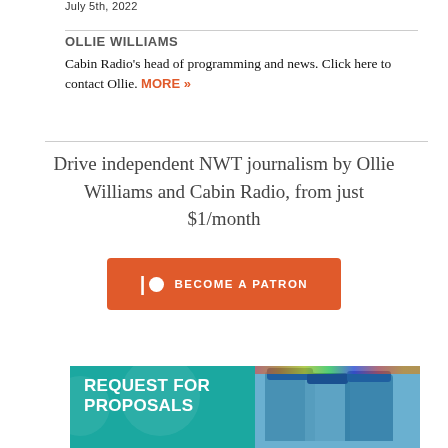July 5th, 2022
OLLIE WILLIAMS
Cabin Radio's head of programming and news. Click here to contact Ollie. MORE »
Drive independent NWT journalism by Ollie Williams and Cabin Radio, from just $1/month
[Figure (other): Patreon button: BECOME A PATRON with orange background]
[Figure (photo): REQUEST FOR PROPOSALS banner with teal background and photo of smiling people in blue hats]